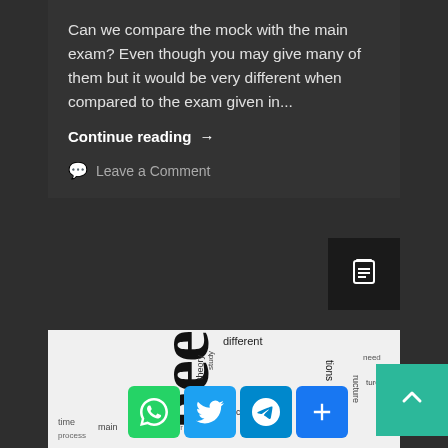Can we compare the mock with the main exam? Even though you may give many of them but it would be very different when compared to the exam given in...
Continue reading →
Leave a Comment
[Figure (other): Clipboard icon button in dark background]
[Figure (infographic): Word cloud image related to engineering topics: different, process, time, main, structure, business, need, future, interventions, software, etc. Partially visible at bottom of page.]
[Figure (other): Scroll-to-top button (teal/green with up arrow chevron)]